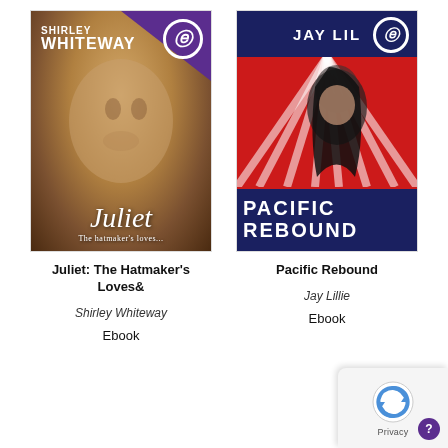[Figure (illustration): Book cover for 'Juliet: The Hatmaker's Loves' by Shirley Whiteway — sepia-toned photo of a young girl with a purple corner and Epub 'e' badge]
[Figure (illustration): Book cover for 'Pacific Rebound' by Jay Lillie — bold red and navy design with radiating white stripes and a stylized woman's face]
Juliet: The Hatmaker's Loves&
Pacific Rebound
Shirley Whiteway
Jay Lillie
Ebook
Ebook